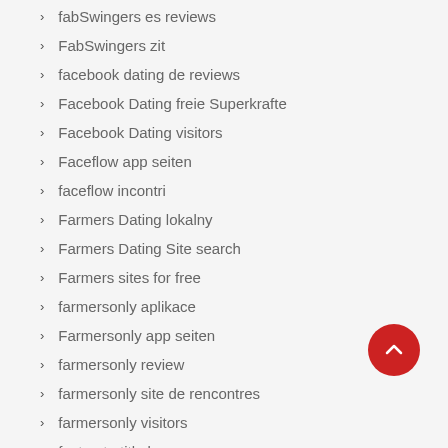fabSwingers es reviews
FabSwingers zit
facebook dating de reviews
Facebook Dating freie Superkrafte
Facebook Dating visitors
Faceflow app seiten
faceflow incontri
Farmers Dating lokalny
Farmers Dating Site search
Farmers sites for free
farmersonly aplikace
Farmersonly app seiten
farmersonly review
farmersonly site de rencontres
farmersonly visitors
fast auto title loans